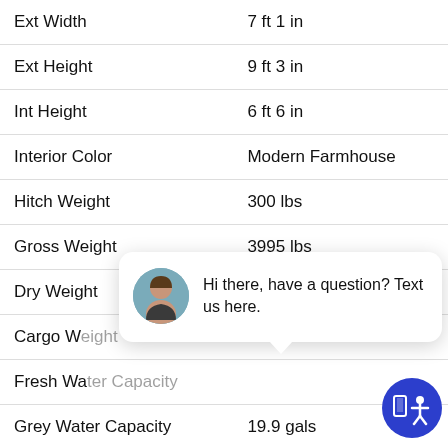| Spec | Value |
| --- | --- |
| Ext Width | 7 ft 1 in |
| Ext Height | 9 ft 3 in |
| Int Height | 6 ft 6 in |
| Interior Color | Modern Farmhouse |
| Hitch Weight | 300 lbs |
| Gross Weight | 3995 lbs |
| Dry Weight | 3030 lbs |
| Cargo W[eight] |  |
| Fresh Wa[ter Capacity] |  |
| Grey Water Capacity | 19.9 gals |
[Figure (screenshot): Chat popup overlay with avatar photo of a woman, text: Hi there, have a question? Text us here. Close button top right. Accessibility icon bottom right (blue circle with person icon).]
SIMILAR FLOORPLANS
Front Bedroom